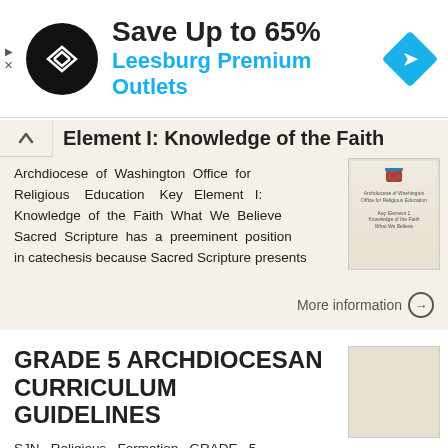[Figure (screenshot): Advertisement banner: Save Up to 65% Leesburg Premium Outlets with logo and navigation arrow icon]
Element I: Knowledge of the Faith
Archdiocese of Washington Office for Religious Education Key Element I: Knowledge of the Faith What We Believe Sacred Scripture has a preeminent position in catechesis because Sacred Scripture presents
More information →
GRADE 5 ARCHDIOCESAN CURRICULUM GUIDELINES
SJN Religious Formation GRADE 5 ARCHDIOCESAN CURRICULUM GUIDELINES Forming Disciples for the New Evangelization Archdiocese of Washington, Office of Religious Education 2010 TABLE OF